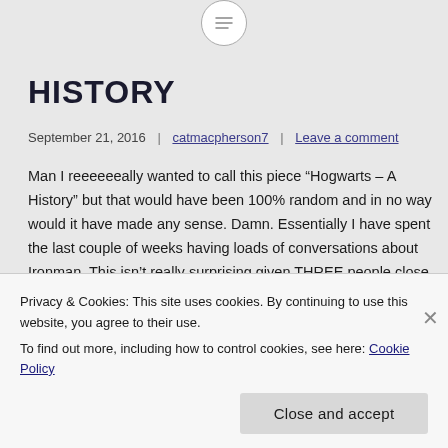[Figure (other): Circular icon with horizontal lines (menu/text icon) at top center]
HISTORY
September 21, 2016  |  catmacpherson7  |  Leave a comment
Man I reeeeeeally wanted to call this piece “Hogwarts – A History” but that would have been 100% random and in no way would it have made any sense. Damn. Essentially I have spent the last couple of weeks having loads of conversations about Ironman. This isn’t really surprising given THREE people close to me completed 70.3’s and full distance Ironman(s) in
Privacy & Cookies: This site uses cookies. By continuing to use this website, you agree to their use.
To find out more, including how to control cookies, see here: Cookie Policy
Close and accept